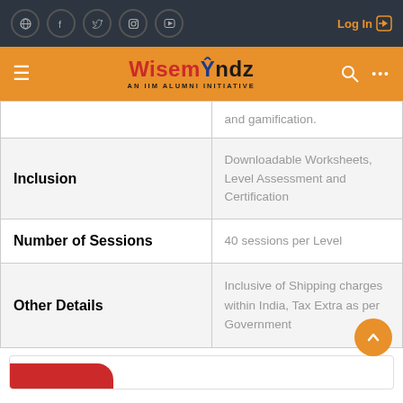WiseMindz – AN IIM ALUMNI INITIATIVE – Log In
|  |  |
| --- | --- |
|  | and gamification. |
| Inclusion | Downloadable Worksheets, Level Assessment and Certification |
| Number of Sessions | 40 sessions per Level |
| Other Details | Inclusive of Shipping charges within India, Tax Extra as per Government |